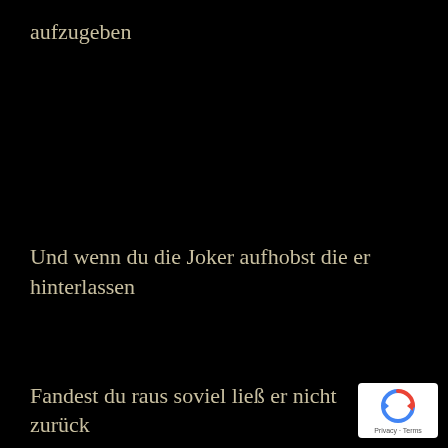aufzugeben
Und wenn du die Joker aufhobst die er hinterlassen
Fandest du raus soviel ließ er nicht zurück
[Figure (logo): Google reCAPTCHA badge with recycling-arrow icon and Privacy · Terms text]